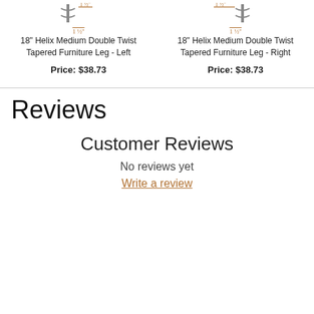[Figure (illustration): Product image of 18 inch Helix Medium Double Twist Tapered Furniture Leg - Left with measurement label 1½ inches]
18" Helix Medium Double Twist Tapered Furniture Leg - Left
Price: $38.73
[Figure (illustration): Product image of 18 inch Helix Medium Double Twist Tapered Furniture Leg - Right with measurement label 1½ inches]
18" Helix Medium Double Twist Tapered Furniture Leg - Right
Price: $38.73
Reviews
Customer Reviews
No reviews yet
Write a review